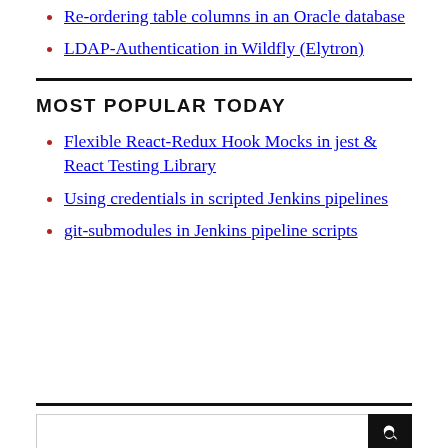Re-ordering table columns in an Oracle database
LDAP-Authentication in Wildfly (Elytron)
MOST POPULAR TODAY
Flexible React-Redux Hook Mocks in jest & React Testing Library
Using credentials in scripted Jenkins pipelines
git-submodules in Jenkins pipeline scripts